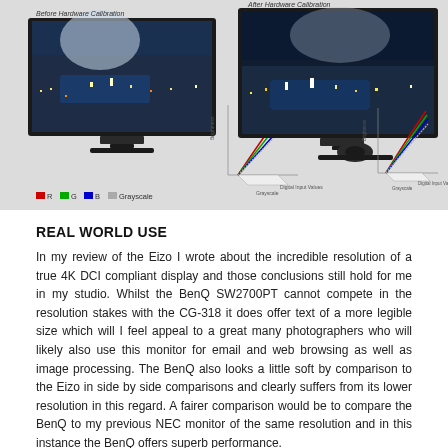[Figure (photo): Two BenQ SW2700PT monitors side by side showing before and after hardware calibration. The left monitor is labeled 'Before Hardware Calibration' and the right is labeled 'After Hardware Calibration'. Each monitor displays a cityscape and has a 3D gamma curve diagram beside it showing R, G, B, and Grayscale curves. A legend at the bottom left shows colored squares for R (red), G (green), B (blue), and Grayscale.]
REAL WORLD USE
In my review of the Eizo I wrote about the incredible resolution of a true 4K DCI compliant display and those conclusions still hold for me in my studio. Whilst the BenQ SW2700PT cannot compete in the resolution stakes with the CG-318 it does offer text of a more legible size which will I feel appeal to a great many photographers who will likely also use this monitor for email and web browsing as well as image processing. The BenQ also looks a little soft by comparison to the Eizo in side by side comparisons and clearly suffers from its lower resolution in this regard. A fairer comparison would be to compare the BenQ to my previous NEC monitor of the same resolution and in this instance the BenQ offers superb performance.